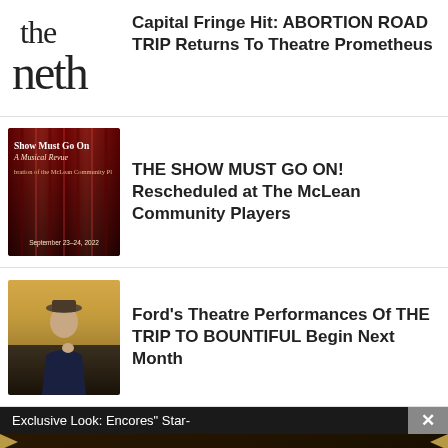[Figure (logo): The Neth logo in minimalist black text on white background]
Capital Fringe Hit: ABORTION ROAD TRIP Returns To Theatre Prometheus
[Figure (photo): Show Must Go On: A Musical Revue poster with red curtain background, text 'Show Must Go On - A Musical Revue', 'A celebration of the McLean Community Players', 'September 23-24, 2022']
THE SHOW MUST GO ON! Rescheduled at The McLean Community Players
[Figure (photo): Elderly woman posing in a field, wearing a hat and dark jacket]
Ford's Theatre Performances Of THE TRIP TO BOUNTIFUL Begin Next Month
Exclusive Look: Encores" Star-
[Figure (infographic): The Book of Mormon advertisement: GET 2-FOR-1 TICKETS DURING NYC BROADWAY WEEK · SEPTEMBER 6-25 USE CODE BWAYWK GET TICKETS]